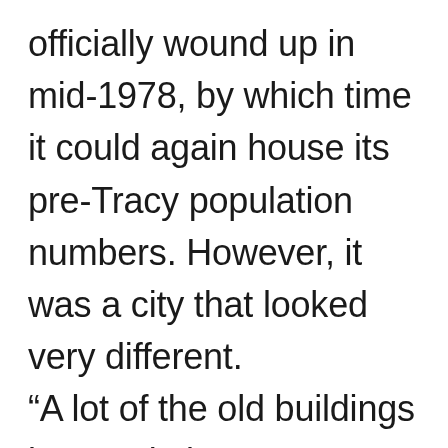officially wound up in mid-1978, by which time it could again house its pre-Tracy population numbers. However, it was a city that looked very different. “A lot of the old buildings in Darwin in 1974 were constructed in what we would